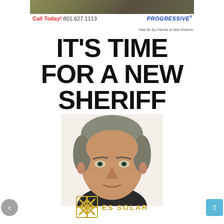[Figure (photo): Top banner landscape/outdoor photo, partially cropped]
Call Today! 801.627.1113
[Figure (logo): Progressive insurance logo in blue italic bold text]
Paid for by Friends of Nick Roberts
IT'S TIME FOR A NEW SHERIFF
[Figure (photo): Head and shoulders photo of a middle-aged man with gray hair]
[Figure (logo): ES Solar logo with gold snowflake/asterisk symbol and text ES SOLAR]